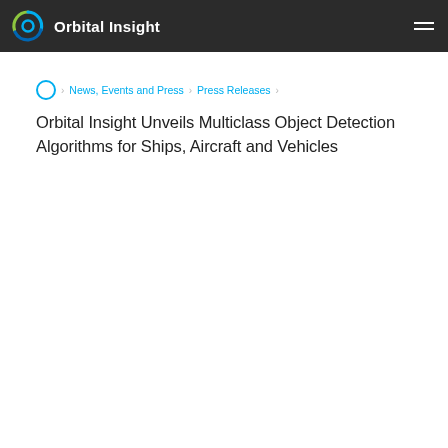Orbital Insight
Home > News, Events and Press > Press Releases >
Orbital Insight Unveils Multiclass Object Detection Algorithms for Ships, Aircraft and Vehicles